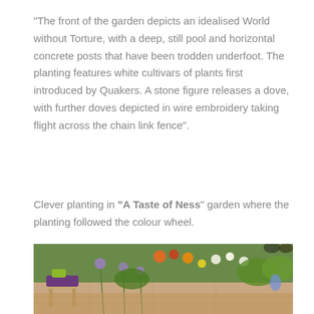“The front of the garden depicts an idealised World without Torture, with a deep, still pool and horizontal concrete posts that have been trodden underfoot. The planting features white cultivars of plants first introduced by Quakers. A stone figure releases a dove, with further doves depicted in wire embroidery taking flight across the chain link fence”.
Clever planting in “A Taste of Ness” garden where the planting followed the colour wheel.
[Figure (photo): A garden photo showing a wooden stool with a purple cushion and green cushion, surrounded by alliums and colourful flowering plants including orange, red, yellow and white blooms, with lush green foliage in the background.]